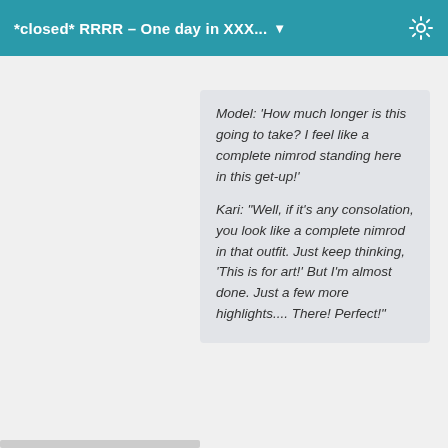*closed* RRRR – One day in XXX... ▼
Model: 'How much longer is this going to take? I feel like a complete nimrod standing here in this get-up!'

Kari: 'Well, if it's any consolation, you look like a complete nimrod in that outfit. Just keep thinking, 'This is for art!' But I'm almost done. Just a few more highlights.... There! Perfect!'
Another OBanion classic ;-)